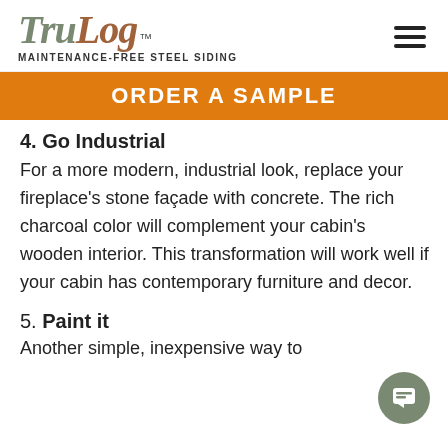[Figure (logo): TruLog Maintenance-Free Steel Siding logo with hamburger menu icon]
ORDER A SAMPLE
4. Go Industrial
For a more modern, industrial look, replace your fireplace's stone façade with concrete. The rich charcoal color will complement your cabin's wooden interior. This transformation will work well if your cabin has contemporary furniture and decor.
5. Paint it
Another simple, inexpensive way to